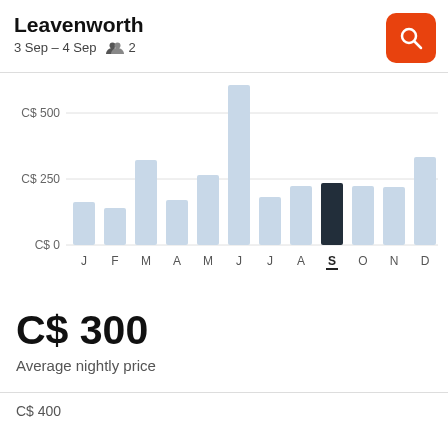Leavenworth
3 Sep – 4 Sep   👥 2
[Figure (bar-chart): Average nightly price by month]
C$ 300
Average nightly price
C$ 400